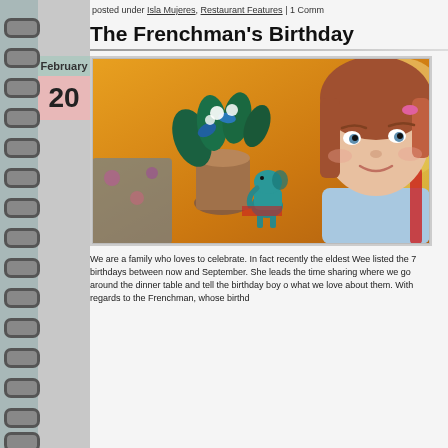posted under Isla Mujeres, Restaurant Features | 1 Comm
The Frenchman's Birthday
[Figure (photo): A young girl with reddish-brown hair and a pink hair clip, wearing a light blue top, sitting at a restaurant table with a blue and white floral arrangement and a teal elephant figurine in the background against an orange wall.]
We are a family who loves to celebrate. In fact recently the eldest Wee listed the 7 birthdays between now and September. She leads the time sharing where we go around the dinner table and tell the birthday boy o what we love about them. With regards to the Frenchman, whose birthd